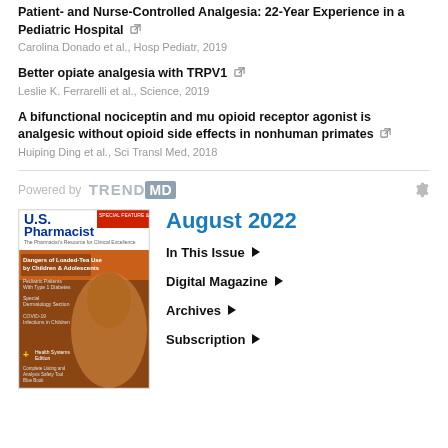Patient- and Nurse-Controlled Analgesia: 22-Year Experience in a Pediatric Hospital
Carolina Donado et al., Hosp Pediatr, 2019
Better opiate analgesia with TRPV1
Leslie K. Ferrarelli et al., Science, 2019
A bifunctional nociceptin and mu opioid receptor agonist is analgesic without opioid side effects in nonhuman primates
Huiping Ding et al., Sci Transl Med, 2018
Powered by TRENDMD
[Figure (illustration): U.S. Pharmacist magazine cover for August 2022 issue showing a child drinking from a cup with articles about dangers of Loaded-Tea Use by Children & Adolescents, Pediatric Patients With Type 1 Diabetes, Special Dermatology Section, COVID-19 Infections in Children, Health Systems Edition]
August 2022
In This Issue
Digital Magazine
Archives
Subscription